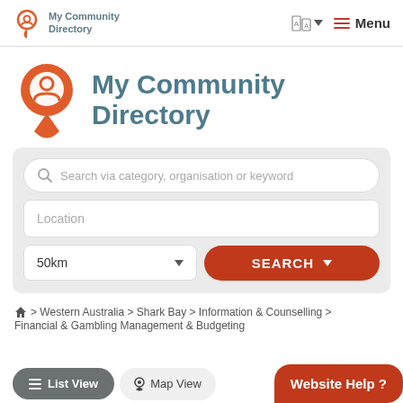My Community Directory | Menu
[Figure (logo): My Community Directory logo: orange map pin with person icon, text 'My Community Directory' in teal]
[Figure (screenshot): Search interface with fields: 'Search via category, organisation or keyword', 'Location', '50km' dropdown, and orange SEARCH button]
> Western Australia > Shark Bay > Information & Counselling > Financial & Gambling Management & Budgeting
List View   Map View   Website Help ?